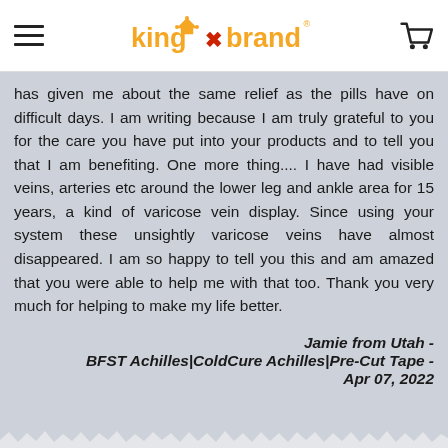King Brand logo with hamburger menu and cart icon
has given me about the same relief as the pills have on difficult days. I am writing because I am truly grateful to you for the care you have put into your products and to tell you that I am benefiting. One more thing.... I have had visible veins, arteries etc around the lower leg and ankle area for 15 years, a kind of varicose vein display. Since using your system these unsightly varicose veins have almost disappeared. I am so happy to tell you this and am amazed that you were able to help me with that too. Thank you very much for helping to make my life better.
Jamie from Utah - BFST Achilles|ColdCure Achilles|Pre-Cut Tape - Apr 07, 2022